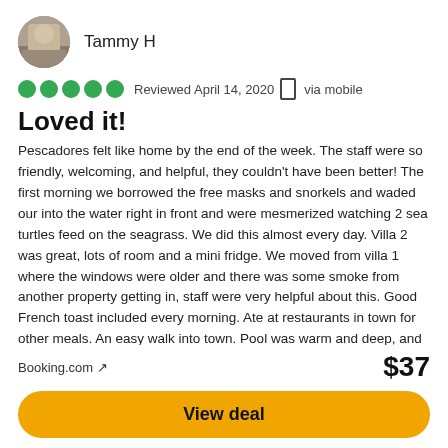[Figure (photo): Circular avatar photo of reviewer Tammy H]
Tammy H
●●●●● Reviewed April 14, 2020  □ via mobile
Loved it!
Pescadores felt like home by the end of the week. The staff were so friendly, welcoming, and helpful, they couldn't have been better! The first morning we borrowed the free masks and snorkels and waded our into the water right in front and were mesmerized watching 2 sea turtles feed on the seagrass. We did this almost every day. Villa 2 was great, lots of room and a mini fridge. We moved from villa 1 where the windows were older and there was some smoke from another property getting in, staff were very helpful about this. Good French toast included every morning. Ate at restaurants in town for other meals. An easy walk into town. Pool was warm and deep, and had a beautiful view over the water. Chairs on grassy area to lounge on. A nice garden area outside the villa with tables, chairs and swings that we used often. A great family run dive centre. Loves
Booking.com ↗
$37
View deal